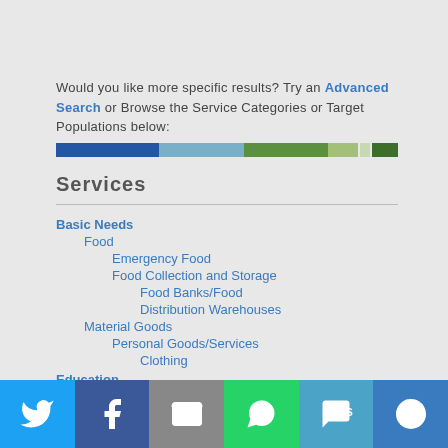Would you like more specific results? Try an Advanced Search or Browse the Service Categories or Target Populations below:
Services
Basic Needs
Food
Emergency Food
Food Collection and Storage
Food Banks/Food Distribution Warehouses
Material Goods
Personal Goods/Services
Clothing
Education